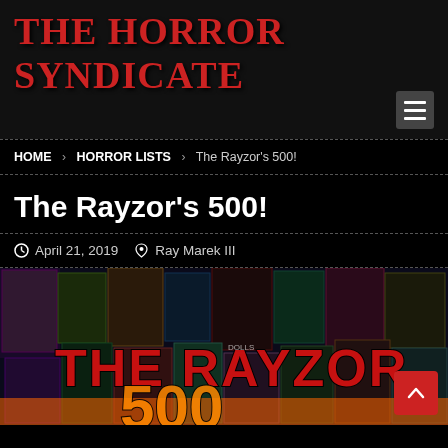The Horror Syndicate
HOME > HORROR LISTS > The Rayzor's 500!
The Rayzor's 500!
April 21, 2019  Ray Marek III
[Figure (photo): Collage banner image reading 'The Rayzor' with horror movie covers in the background]